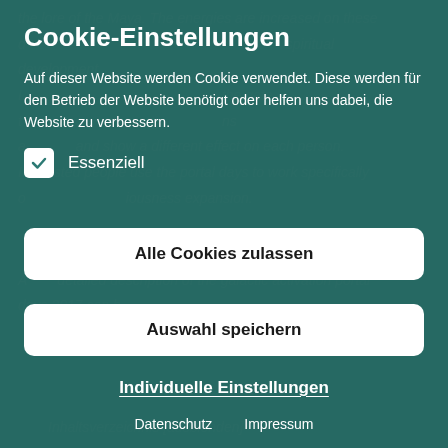[Figure (screenshot): Background webpage text about Maya lore, galactic activation portal days, and a table of contents visible behind cookie consent modal]
Cookie-Einstellungen
Auf dieser Website werden Cookie verwendet. Diese werden für den Betrieb der Website benötigt oder helfen uns dabei, die Website zu verbessern.
Essenziell
Alle Cookies zulassen
Auswahl speichern
Individuelle Einstellungen
Datenschutz    Impressum